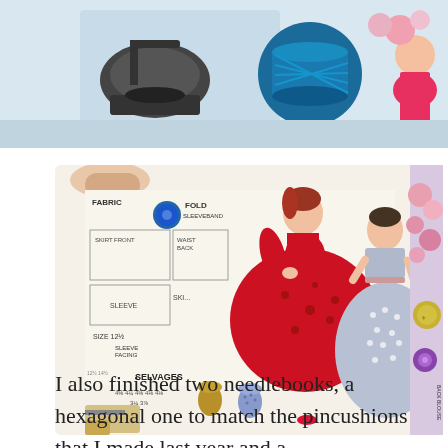[Figure (photo): Close-up photo of sewing-themed fabric showing illustrations of a sewing machine, a large spool of blue thread, and a woman in a dress, on a colorful background.]
[Figure (photo): A hand holding open a vintage sewing pattern book. The page shows pattern pieces labeled FABRIC, FOLD, SLEEVEBAND, SKIRT FRONT, WAIST BACK, SLEEVE, SKIRT, SIZE 12½, SLEEVE FACING, SELVAGES, and fabric requirement measurements. Illustrated women in vintage dresses (one in red floral, one in grey polka dot) are shown on the right side of the pattern. Thimbles and sewing notions are depicted at the bottom.]
I also finished two needlebooks, a hexagonal one to match the pincushions that I made last year and a